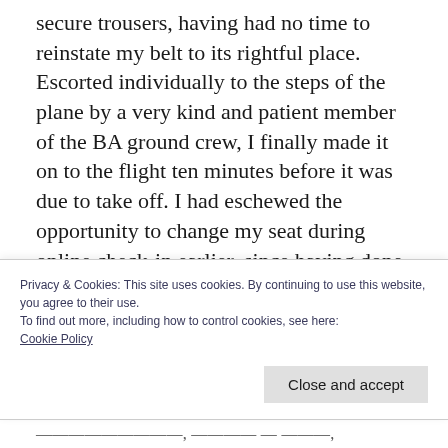secure trousers, having had no time to reinstate my belt to its rightful place. Escorted individually to the steps of the plane by a very kind and patient member of the BA ground crew, I finally made it on to the flight ten minutes before it was due to take off. I had eschewed the opportunity to change my seat during online check-in earlier, since having done this on the way down and yet still failed in my attempt to secure a seat with no-one beside me. Miserably. I was sat beside an
Privacy & Cookies: This site uses cookies. By continuing to use this website, you agree to their use.
To find out more, including how to control cookies, see here:
Cookie Policy
Close and accept